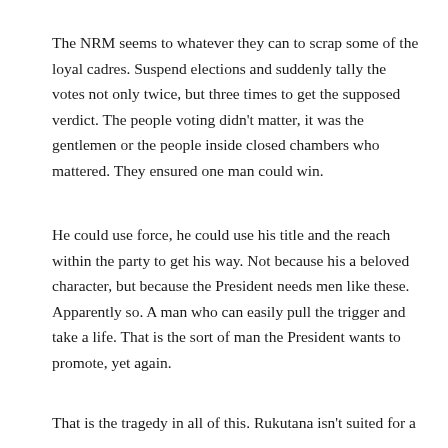The NRM seems to whatever they can to scrap some of the loyal cadres. Suspend elections and suddenly tally the votes not only twice, but three times to get the supposed verdict. The people voting didn’t matter, it was the gentlemen or the people inside closed chambers who mattered. They ensured one man could win.
He could use force, he could use his title and the reach within the party to get his way. Not because his a beloved character, but because the President needs men like these. Apparently so. A man who can easily pull the trigger and take a life. That is the sort of man the President wants to promote, yet again.
That is the tragedy in all of this. Rukutana isn’t suited for a